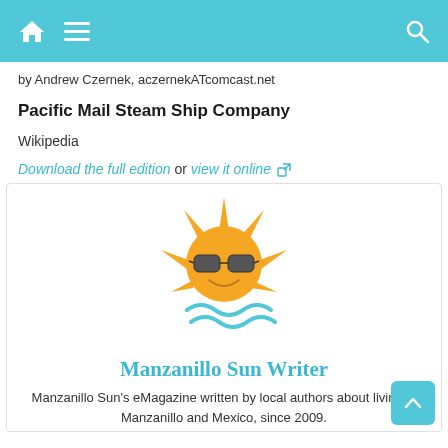Navigation header with home, menu, and search icons
by Andrew Czernek, aczernekATcomcast.net
Pacific Mail Steam Ship Company
Wikipedia
Download the full edition or view it online
[Figure (logo): Manzanillo Sun logo: cartoon sun with sunglasses and blue wave]
Manzanillo Sun Writer
Manzanillo Sun's eMagazine written by local authors about living in Manzanillo and Mexico, since 2009.